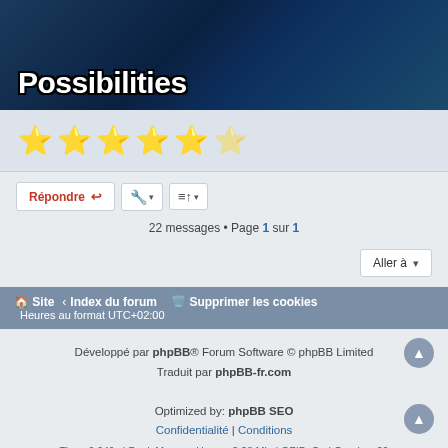[Figure (screenshot): Banner image with dark blue digital background and large white bold text reading 'Possibilities']
[Figure (infographic): 5.5 star rating displayed as yellow stars (5 full, 1 half)]
Répondre   [wrench icon]   [sort icon]
22 messages • Page 1 sur 1
Aller à
Site ‹ Index du forum   Supprimer les cookies   Heures au format UTC+02:00
Développé par phpBB® Forum Software © phpBB Limited
Traduit par phpBB-fr.com
Optimized by: phpBB SEO
Confidentialité | Conditions
Time: 0,049s | Peak Memory Usage: 3,28 Mio | GZIP: On | Queries: 20